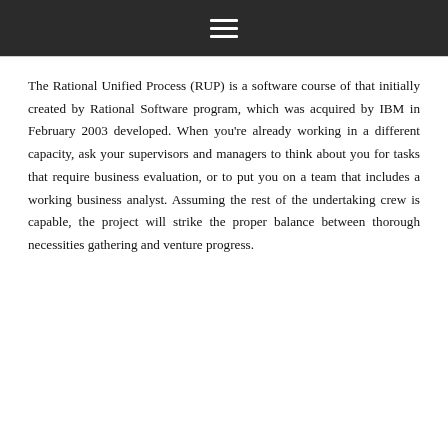☰
The Rational Unified Process (RUP) is a software course of that initially created by Rational Software program, which was acquired by IBM in February 2003 developed. When you're already working in a different capacity, ask your supervisors and managers to think about you for tasks that require business evaluation, or to put you on a team that includes a working business analyst. Assuming the rest of the undertaking crew is capable, the project will strike the proper balance between thorough necessities gathering and venture progress.